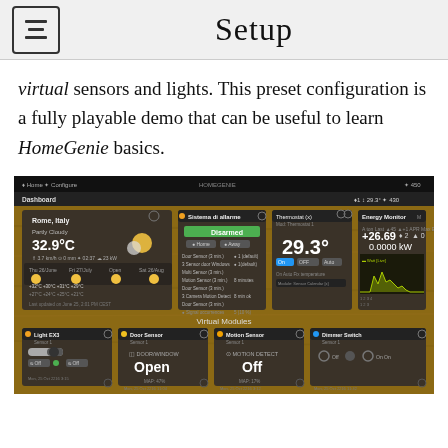Setup
virtual sensors and lights. This preset configuration is a fully playable demo that can be useful to learn HomeGenie basics.
[Figure (screenshot): Screenshot of HomeGenie dashboard showing weather widget (Rome, Italy, 32.9°C, Partly Cloudy), Sistema di allarme (Disarmed), Thermostat (29.3°), Energy Monitor (0.0000 kW), Virtual Modules section with Light, Door Sensor (Open), Motion Sensor (Off), Dimmer switch panels, Simulate section with demo buttons at bottom.]